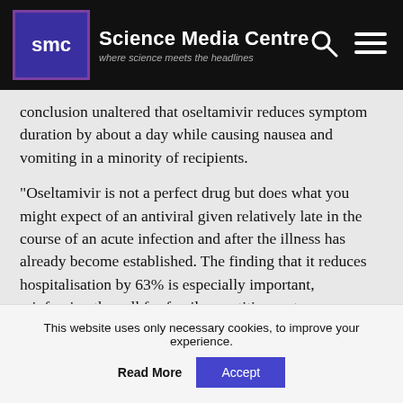[Figure (logo): Science Media Centre logo and header bar with SMC logo, site title 'Science Media Centre', subtitle 'where science meets the headlines', search icon, and menu icon on black background]
conclusion unaltered that oseltamivir reduces symptom duration by about a day while causing nausea and vomiting in a minority of recipients.
“Oseltamivir is not a perfect drug but does what you might expect of an antiviral given relatively late in the course of an acute infection and after the illness has already become established. The finding that it reduces hospitalisation by 63% is especially important, reinforcing the call for family practitioners to use antivirals early rather than resorting to antibiotics, which are of no proven benefit in uncomplicated flu.”
This website uses only necessary cookies, to improve your experience.